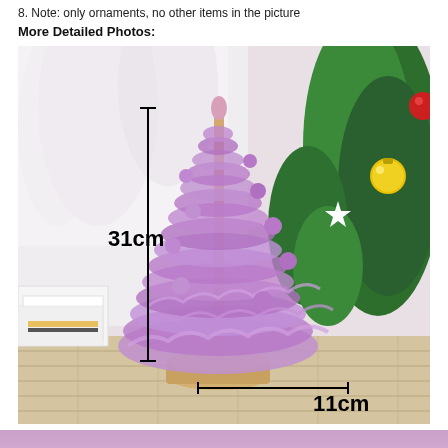8. Note: only ornaments, no other items in the picture
More Detailed Photos:
[Figure (photo): A purple tulle mini Christmas tree on a wooden base, shown with measurement annotations: 31cm height (vertical black line) and 11cm width (horizontal black line at base). A real green Christmas tree with gold and white ornaments is visible in the background right. White boxes and a wood-plank surface are visible on the left background.]
[Figure (photo): Partial view of a purple item at the bottom of the page (cropped).]